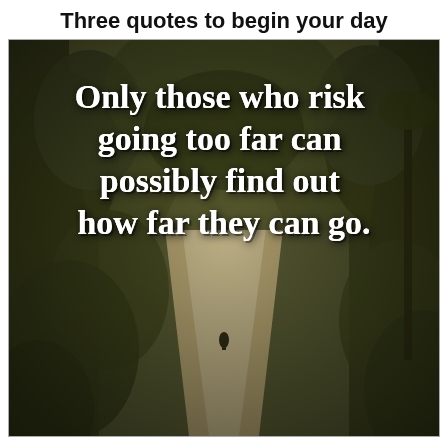Three quotes to begin your day
[Figure (photo): A sepia-toned photo of a dirt road winding through a lush green tropical forest, with a lone person walking in the distance. Overlaid in large white bold serif text: 'Only those who risk going too far can possibly find out how far they can go.']